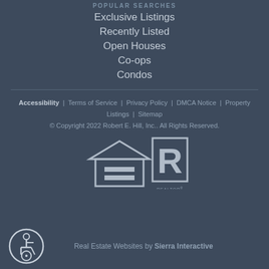POPULAR SEARCHES
Exclusive Listings
Recently Listed
Open Houses
Co-ops
Condos
Accessibility  |  Terms of Service  |  Privacy Policy  |  DMCA Notice  |  Property Listings  |  Sitemap
© Copyright 2022 Robert E. Hill, Inc.. All Rights Reserved.
[Figure (logo): Equal Housing Opportunity logo and REALTOR logo]
Real Estate Websites by Sierra Interactive